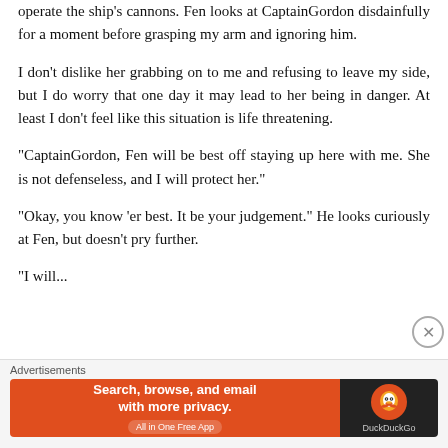operate the ship's cannons. Fen looks at CaptainGordon disdainfully for a moment before grasping my arm and ignoring him.
I don't dislike her grabbing on to me and refusing to leave my side, but I do worry that one day it may lead to her being in danger. At least I don't feel like this situation is life threatening.
“CaptainGordon, Fen will be best off staying up here with me. She is not defenseless, and I will protect her.”
“Okay, you know ‘er best. It be your judgement.” He looks curiously at Fen, but doesn’t pry further.
“I will...
[Figure (screenshot): DuckDuckGo advertisement banner: orange left panel with text 'Search, browse, and email with more privacy. All in One Free App', dark right panel with DuckDuckGo logo.]